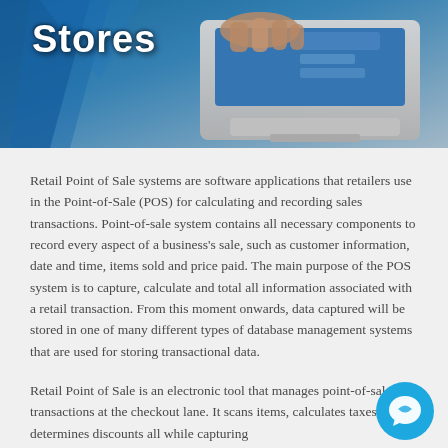[Figure (photo): Hero image showing a point-of-sale terminal/cash register device being operated, with blue geometric shapes on the left side. The word 'Stores' appears as a bold white title overlay on the image.]
Stores
Retail Point of Sale systems are software applications that retailers use in the Point-of-Sale (POS) for calculating and recording sales transactions. Point-of-sale system contains all necessary components to record every aspect of a business's sale, such as customer information, date and time, items sold and price paid. The main purpose of the POS system is to capture, calculate and total all information associated with a retail transaction. From this moment onwards, data captured will be stored in one of many different types of database management systems that are used for storing transactional data.
Retail Point of Sale is an electronic tool that manages point-of-sale transactions at the checkout lane. It scans items, calculates taxes and determines discounts all while capturing